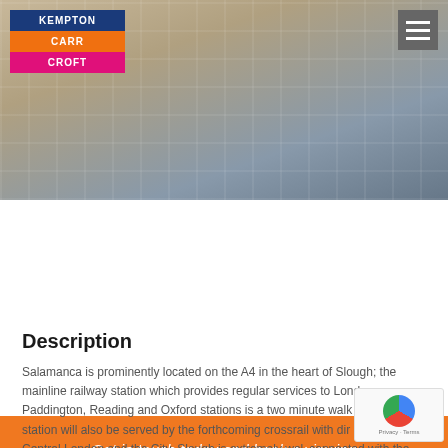[Figure (photo): Exterior photo of Salamanca building – a modern multi-storey office building with glass facade, located in Slough. A logo reading KEMPTON / CARR / CROFT is overlaid top-left, and a hamburger menu icon is in the top-right.]
Get in touch today and book a viewing
CONTACT US
Description
Salamanca is prominently located on the A4 in the heart of Slough; the mainline railway station which provides regular services to London Paddington, Reading and Oxford stations is a two minute walk away. The station will also be served by the forthcoming crossrail with direct access to Central London and the City. Slough is extremely well connected with the M4, M25 and M40 motorway networks all within distance. Salamanca is a prominent headquarters building within the